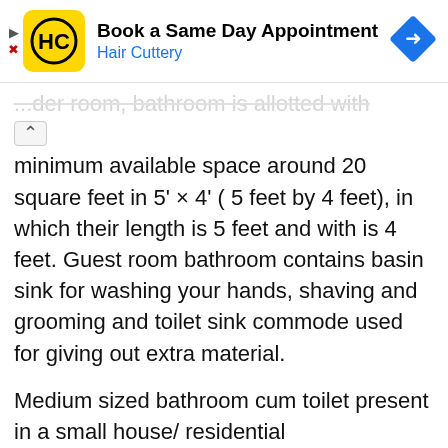[Figure (other): Hair Cuttery advertisement banner with logo (HC in yellow circle), title 'Book a Same Day Appointment', subtitle 'Hair Cuttery' in blue, and a blue diamond navigation icon on the right.]
...der room, bathroom is allotted with minimum available space around 20 square feet in 5' × 4' ( 5 feet by 4 feet), in which their length is 5 feet and with is 4 feet. Guest room bathroom contains basin sink for washing your hands, shaving and grooming and toilet sink commode used for giving out extra material.
Medium sized bathroom cum toilet present in a small house/ residential building/apartment, their alloted minimum space is around 35 to 40 square feet in two different size 7'×5' ( 7feet by 5 feet) or 8'×5' (8feet by 5 feet). This size...